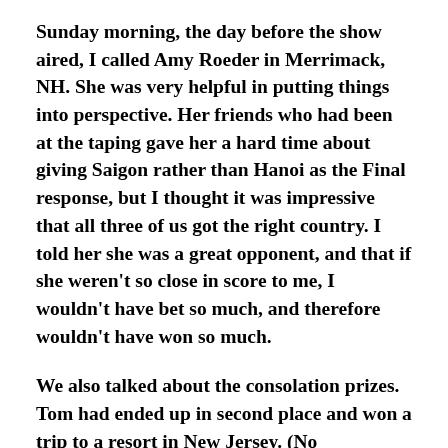Sunday morning, the day before the show aired, I called Amy Roeder in Merrimack, NH. She was very helpful in putting things into perspective. Her friends who had been at the taping gave her a hard time about giving Saigon rather than Hanoi as the Final response, but I thought it was impressive that all three of us got the right country. I told her she was a great opponent, and that if she weren't so close in score to me, I wouldn't have bet so much, and therefore wouldn't have won so much.
We also talked about the consolation prizes. Tom had ended up in second place and won a trip to a resort in New Jersey. (No commentary